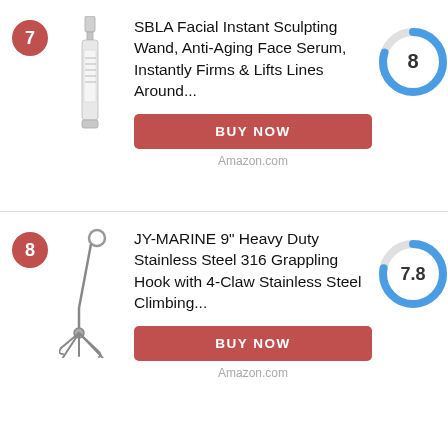[Figure (other): Product listing card: Rank 7 badge, SBLA Facial Instant Sculpting Wand product image (slim serum bottle), product title, BUY NOW button, Amazon.com source label, score donut chart showing 8]
[Figure (other): Product listing card: Rank 8 badge, JY-Marine grappling hook image, product title, BUY NOW button, Amazon.com source label, score donut chart showing 7.8]